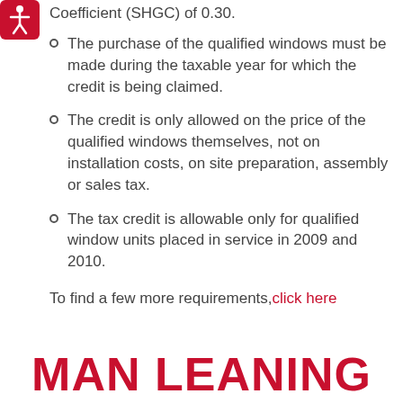[Figure (logo): Red square accessibility icon with white stick figure]
Coefficient (SHGC) of 0.30.
The purchase of the qualified windows must be made during the taxable year for which the credit is being claimed.
The credit is only allowed on the price of the qualified windows themselves, not on installation costs, on site preparation, assembly or sales tax.
The tax credit is allowable only for qualified window units placed in service in 2009 and 2010.
To find a few more requirements, click here
MAN LEANING